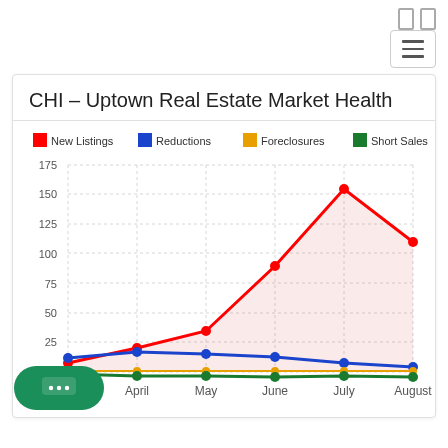CHI - Uptown Real Estate Market Health
[Figure (line-chart): CHI - Uptown Real Estate Market Health]